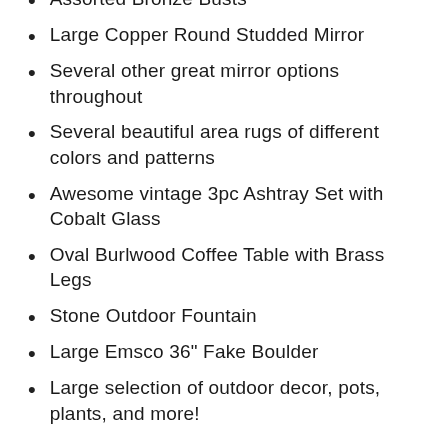Metalwork Decor
Assorted Bronze Busts
Large Copper Round Studded Mirror
Several other great mirror options throughout
Several beautiful area rugs of different colors and patterns
Awesome vintage 3pc Ashtray Set with Cobalt Glass
Oval Burlwood Coffee Table with Brass Legs
Stone Outdoor Fountain
Large Emsco 36" Fake Boulder
Large selection of outdoor decor, pots, plants, and more!